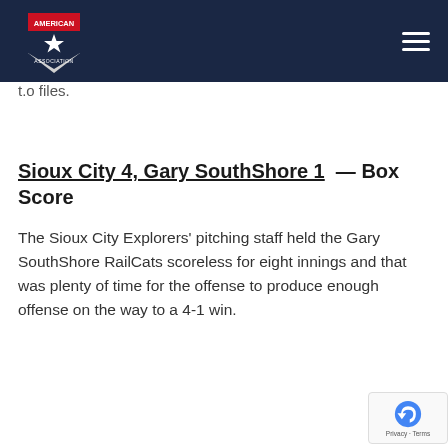American Association logo and navigation
t.o files.
Sioux City 4, Gary SouthShore 1 — Box Score
The Sioux City Explorers' pitching staff held the Gary SouthShore RailCats scoreless for eight innings and that was plenty of time for the offense to produce enough offense on the way to a 4-1 win.